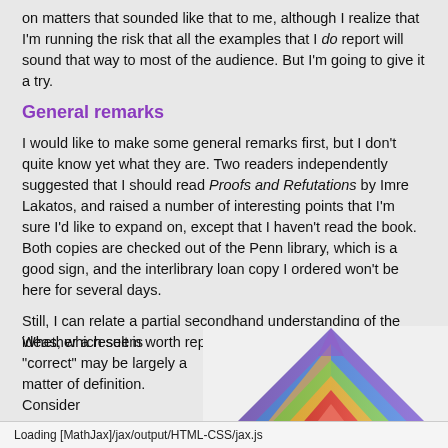on matters that sounded like that to me, although I realize that I'm running the risk that all the examples that I do report will sound that way to most of the audience. But I'm going to give it a try.
General remarks
I would like to make some general remarks first, but I don't quite know yet what they are. Two readers independently suggested that I should read Proofs and Refutations by Imre Lakatos, and raised a number of interesting points that I'm sure I'd like to expand on, except that I haven't read the book. Both copies are checked out of the Penn library, which is a good sign, and the interlibrary loan copy I ordered won't be here for several days.
Still, I can relate a partial secondhand understanding of the ideas, which seem worth repeating.
Whether a result is "correct" may be largely a matter of definition. Consider
[Figure (illustration): Colorful 3D triangular/pyramid shape with rainbow gradient colors — purple, blue, green, orange, red — arranged in concentric triangular layers forming a pointed geometric figure.]
Loading [MathJax]/jax/output/HTML-CSS/jax.js